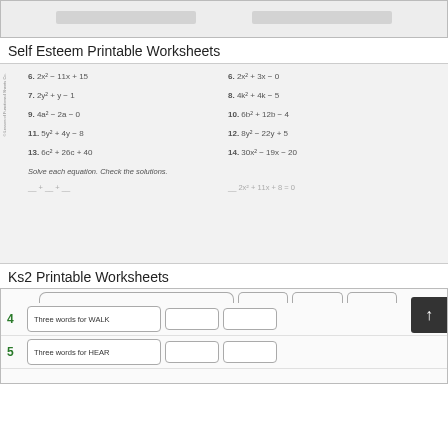[Figure (screenshot): Blurred top strip showing two math expressions with blanks]
Self Esteem Printable Worksheets
[Figure (screenshot): Math worksheet preview showing quadratic equations: 6. 2x²−11x+15, 6. 2x²+3x−0, 7. 2y²+y−1, 8. 4k²+4k−5, 9. 4a²−2a−0, 10. 6b²+12b−4, 11. 5y²+4y−8, 12. 8y²−22y+5, 13. 6c²+26c+40, 14. 30x²−19x−20, with instruction 'Solve each equation. Check the solutions.']
Ks2 Printable Worksheets
[Figure (screenshot): KS2 worksheet preview showing numbered rows 4 and 5: row 4 says 'Three words for WALK' with answer boxes, row 5 says 'Three words for HEAR' with answer boxes]